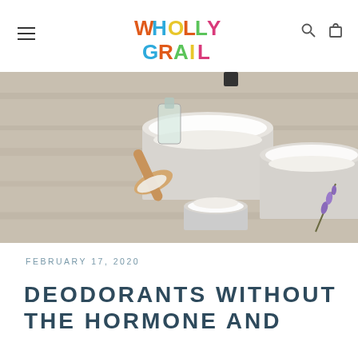Wholly Grail
[Figure (photo): Overhead view of natural deodorant ingredients on a wooden surface: glass jars with white powder, wooden scoop with powder, small glass bottle with liquid, and a lavender sprig]
FEBRUARY 17, 2020
DEODORANTS WITHOUT THE HORMONE AND